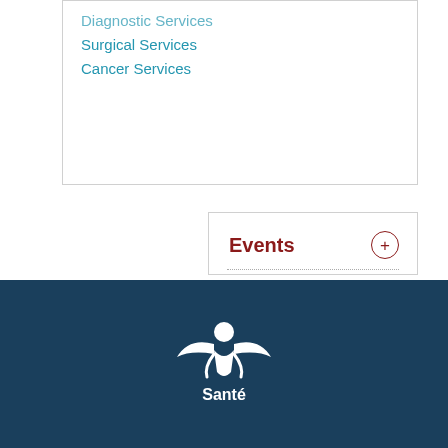Diagnostic Services
Surgical Services
Cancer Services
Events
[Figure (illustration): Calendar icon showing the number 12 in red outline style]
[Figure (logo): Santé logo — white figure icon with swoosh wings on dark teal background with text 'Santé']